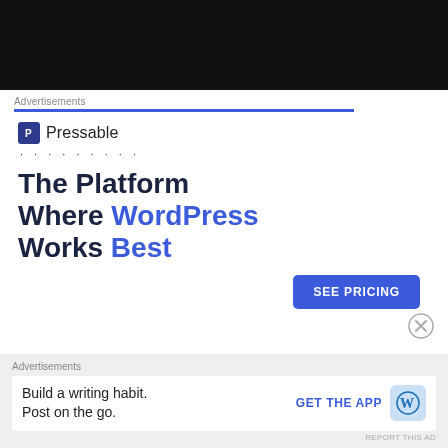[Figure (photo): Dark/black background photo at top of page]
Advertisements
[Figure (logo): Pressable logo with blue square icon and dots row beneath]
The Platform Where WordPress Works Best
SEE PRICING
Advertisements
Build a writing habit. Post on the go.
GET THE APP
REPORT THIS AD